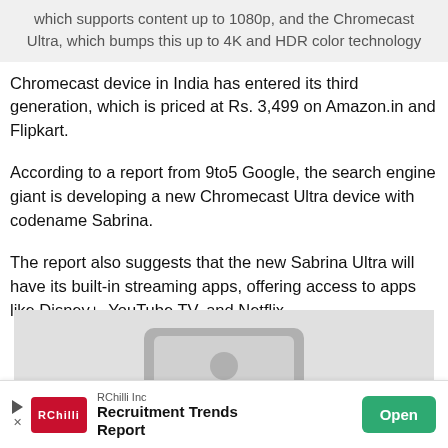which supports content up to 1080p, and the Chromecast Ultra, which bumps this up to 4K and HDR color technology
Chromecast device in India has entered its third generation, which is priced at Rs. 3,499 on Amazon.in and Flipkart.
According to a report from 9to5 Google, the search engine giant is developing a new Chromecast Ultra device with codename Sabrina.
The report also suggests that the new Sabrina Ultra will have its built-in streaming apps, offering access to apps like Disney+, YouTube TV, and Netflix.
[Figure (illustration): Placeholder image showing a generic device/monitor icon on a gray background]
RChilli Inc Recruitment Trends Report Open